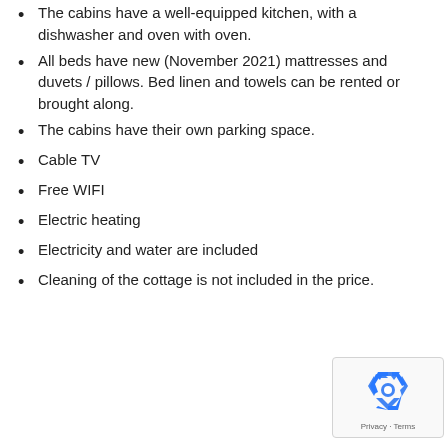The cabins have a well-equipped kitchen, with a dishwasher and oven with oven.
All beds have new (November 2021) mattresses and duvets / pillows. Bed linen and towels can be rented or brought along.
The cabins have their own parking space.
Cable TV
Free WIFI
Electric heating
Electricity and water are included
Cleaning of the cottage is not included in the price.
[Figure (logo): Google reCAPTCHA badge with recycling-arrow logo and Privacy/Terms links]